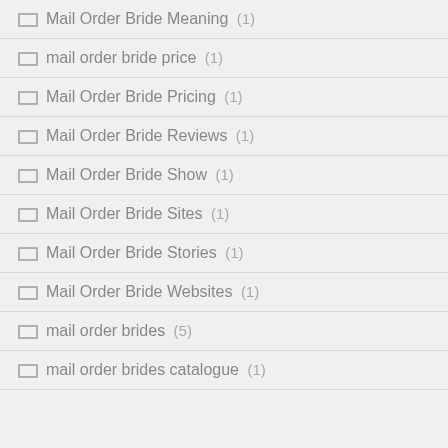Mail Order Bride Meaning (1)
mail order bride price (1)
Mail Order Bride Pricing (1)
Mail Order Bride Reviews (1)
Mail Order Bride Show (1)
Mail Order Bride Sites (1)
Mail Order Bride Stories (1)
Mail Order Bride Websites (1)
mail order brides (5)
mail order brides catalogue (1)